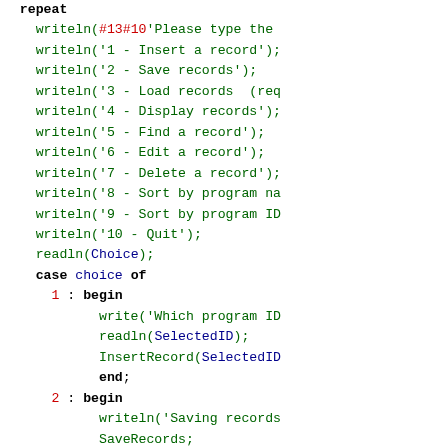[Figure (screenshot): Pascal source code snippet showing a repeat block with writeln menu items, readln, case statement, and begin/end blocks for cases 1-5]